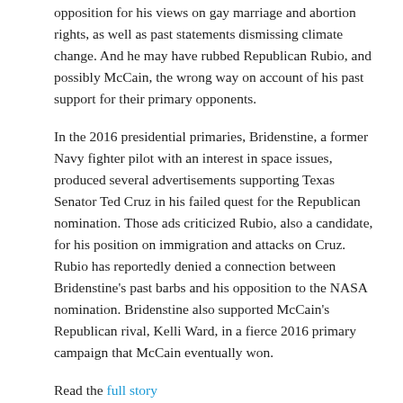opposition for his views on gay marriage and abortion rights, as well as past statements dismissing climate change. And he may have rubbed Republican Rubio, and possibly McCain, the wrong way on account of his past support for their primary opponents.
In the 2016 presidential primaries, Bridenstine, a former Navy fighter pilot with an interest in space issues, produced several advertisements supporting Texas Senator Ted Cruz in his failed quest for the Republican nomination. Those ads criticized Rubio, also a candidate, for his position on immigration and attacks on Cruz. Rubio has reportedly denied a connection between Bridenstine's past barbs and his opposition to the NASA nomination. Bridenstine also supported McCain's Republican rival, Kelli Ward, in a fierce 2016 primary campaign that McCain eventually won.
Read the full story